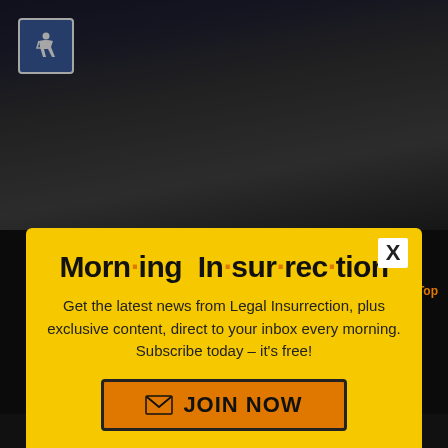[Figure (photo): Dark building exterior with glass windows, accessibility icon visible in top left]
Morn·ing In·sur·rec·tion
Get the latest news from Legal Insurrection, plus exclusive content, direct to your inbox every morning. Subscribe today – it's free!
JOIN NOW
Get the latest from Legal Insurrection each morning plus exclusive Author Quick Hits
Back to Top
[Figure (infographic): Ad banner: PERSPECTIVE | SEE WHAT YOU'RE MISSING | READ MORE]
SUBSCRIBE